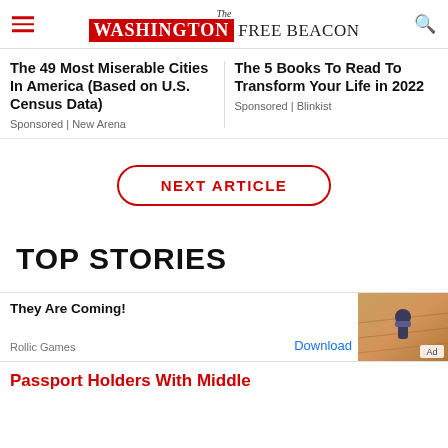The Washington Free Beacon
The 49 Most Miserable Cities In America (Based on U.S. Census Data)
Sponsored | New Arena
The 5 Books To Read To Transform Your Life in 2022
Sponsored | Blinkist
NEXT ARTICLE
TOP STORIES
[Figure (screenshot): Advertisement banner for 'They Are Coming!' by Rollic Games with a Download button and a game screenshot thumbnail labeled Ad]
Passport Holders With Middle